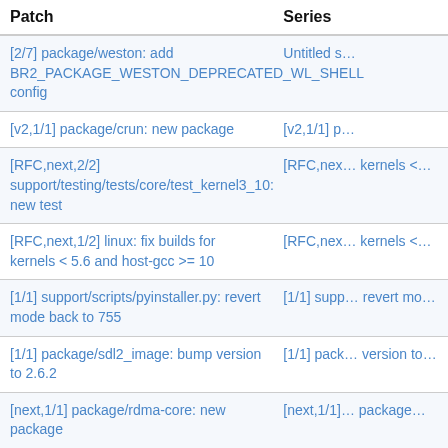| Patch | Series |
| --- | --- |
| [2/7] package/weston: add BR2_PACKAGE_WESTON_DEPRECATED_WL_SHELL config | Untitled s… |
| [v2,1/1] package/crun: new package | [v2,1/1] p… |
| [RFC,next,2/2] support/testing/tests/core/test_kernel3_10: new test | [RFC,nex… kernels <… |
| [RFC,next,1/2] linux: fix builds for kernels < 5.6 and host-gcc >= 10 | [RFC,nex… kernels <… |
| [1/1] support/scripts/pyinstaller.py: revert mode back to 755 | [1/1] supp… revert mo… |
| [1/1] package/sdl2_image: bump version to 2.6.2 | [1/1] pack… version to… |
| [next,1/1] package/rdma-core: new package | [next,1/1]… package… |
| [v2] board/pine64/pinecube: new board | [v2] board… board… |
| [v1,1/1] package/cni-plugins: new package | [v1,1/1] p… package… |